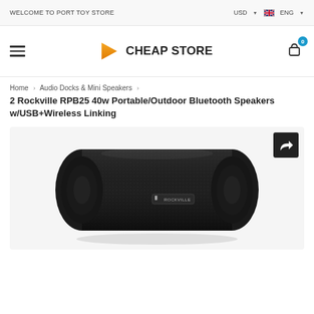WELCOME TO PORT TOY STORE | USD | ENG
[Figure (logo): Cheap Store logo with orange play button triangle icon]
Home > Audio Docks & Mini Speakers > 2 Rockville RPB25 40w Portable/Outdoor Bluetooth Speakers w/USB+Wireless Linking
2 Rockville RPB25 40w Portable/Outdoor Bluetooth Speakers w/USB+Wireless Linking
[Figure (photo): Black Rockville RPB25 portable Bluetooth speaker, cylindrical shape with carry handle, shown on white/light grey background]